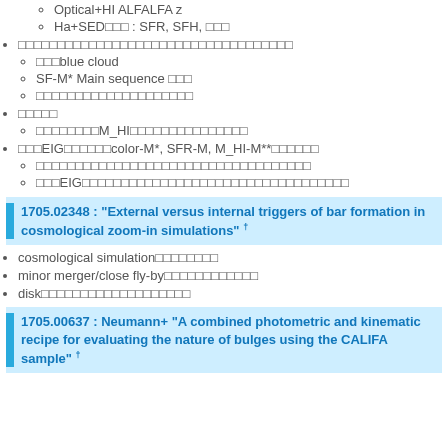Optical+HI ALFALFA z
Ha+SED□□□ : SFR, SFH, □□□
□□□□□□□□□□□□□□□□□□□□□□□□□□□□□□□□□□□
□□□blue cloud
SF-M* Main sequence □□□
□□□□□□□□□□□□□□□□□□□□
□□□□□
□□□□□□□□M_HI□□□□□□□□□□□□□□□□□
□□□EIG□□□□□□□color-M*, SFR-M, M_HI-M**□□□□□□
□□□□□□□□□□□□□□□□□□□□□□□□□□□□□□□□□□□
□□□EIG□□□□□□□□□□□□□□□□□□□□□□□□□□□□□□□□□□□
1705.02348 : "External versus internal triggers of bar formation in cosmological zoom-in simulations" †
cosmological simulation□□□□□□□□
minor merger/close fly-by□□□□□□□□□□□□
disk□□□□□□□□□□□□□□□□□□□
1705.00637 : Neumann+ "A combined photometric and kinematic recipe for evaluating the nature of bulges using the CALIFA sample" †